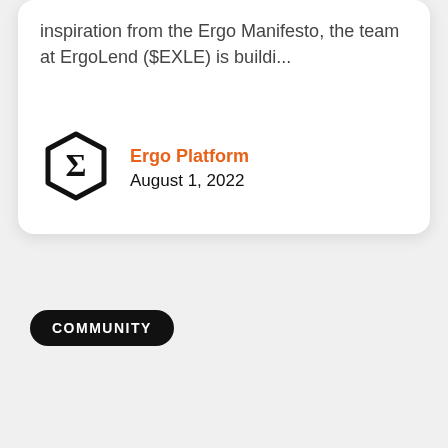inspiration from the Ergo Manifesto, the team at ErgoLend ($EXLE) is buildi...
Ergo Platform
August 1, 2022
COMMUNITY